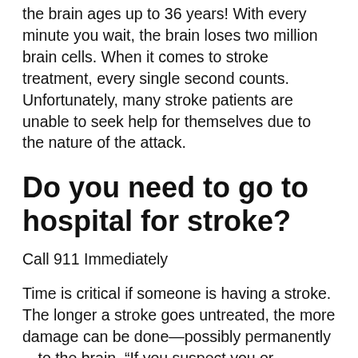the brain ages up to 36 years! With every minute you wait, the brain loses two million brain cells. When it comes to stroke treatment, every single second counts. Unfortunately, many stroke patients are unable to seek help for themselves due to the nature of the attack.
Do you need to go to hospital for stroke?
Call 911 Immediately
Time is critical if someone is having a stroke. The longer a stroke goes untreated, the more damage can be done—possibly permanently —to the brain. “If you suspect you or someone you’re with is having a stroke,